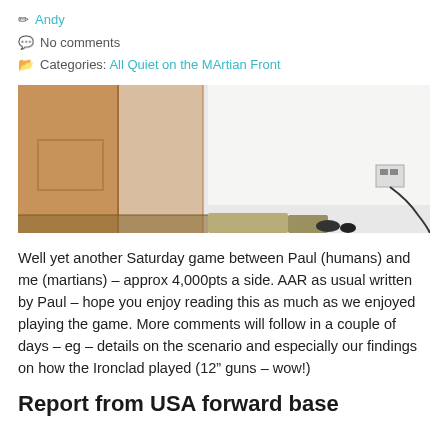✏ Andy
💬 No comments
📂 Categories: All Quiet on the MArtian Front
[Figure (photo): A room with cardboard boxes on the left and a white wall; items visible on the floor near a wall socket on the right.]
Well yet another Saturday game between Paul (humans) and me (martians) – approx 4,000pts a side. AAR as usual written by Paul – hope you enjoy reading this as much as we enjoyed playing the game.  More comments will follow in a couple of days – eg – details on the scenario and especially our findings on how the Ironclad played (12" guns – wow!)
Report from USA forward base